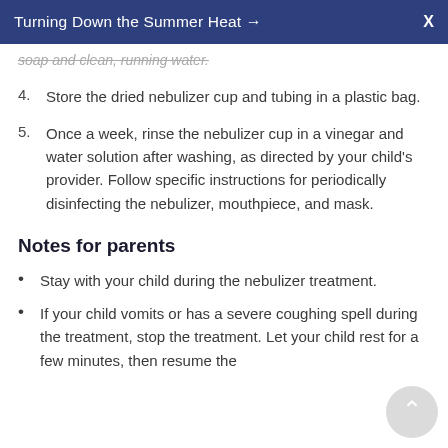Turning Down the Summer Heat →  X
soap and clean, running water.
4. Store the dried nebulizer cup and tubing in a plastic bag.
5. Once a week, rinse the nebulizer cup in a vinegar and water solution after washing, as directed by your child's provider. Follow specific instructions for periodically disinfecting the nebulizer, mouthpiece, and mask.
Notes for parents
Stay with your child during the nebulizer treatment.
If your child vomits or has a severe coughing spell during the treatment, stop the treatment. Let your child rest for a few minutes, then resume the